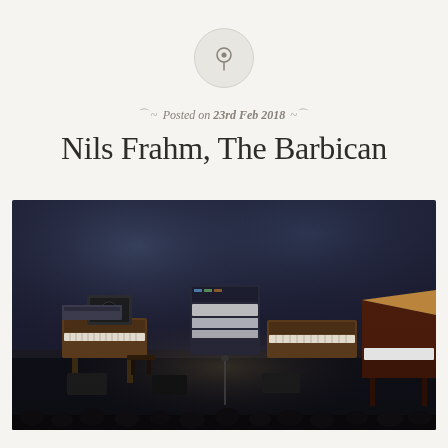Posted on 23rd Feb 2018
Nils Frahm, The Barbican
[Figure (photo): Stage photo showing Nils Frahm's elaborate keyboard and synthesizer setup at The Barbican, with grand piano on right, multiple keyboards and electronic equipment arranged on stage, dramatic atmospheric lighting with blue-grey haze, audience silhouettes visible at bottom]